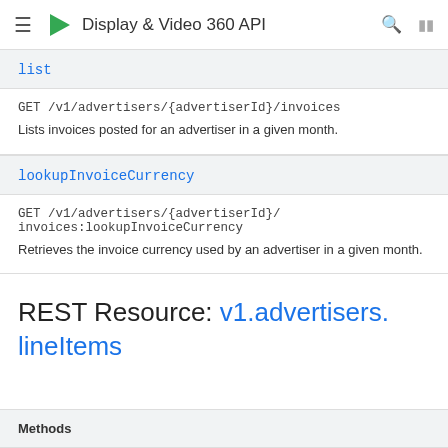Display & Video 360 API
list
GET /v1/advertisers/{advertiserId}/invoices
Lists invoices posted for an advertiser in a given month.
lookupInvoiceCurrency
GET /v1/advertisers/{advertiserId}/
invoices:lookupInvoiceCurrency
Retrieves the invoice currency used by an advertiser in a given month.
REST Resource: v1.advertisers.lineItems
| Methods |
| --- |